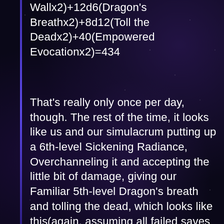Wallx2)+ 12d6(Dragon's Breathx2)+8d12(Toll the Deadx2)+40(Empowered Evocationx2)=434
That's really only once per day, though. The rest of the time, it looks like us and our simulacrum putting up a 6th-level Sickening Radiance, Overchanneling it and accepting the little bit of damage, giving our Familiar 5th-level Dragon's breath and tolling the dead, which looks like this(again, assuming all failed saves and average damage): 120(Sickening Radiancex2)+ 12d6(Dragon's Breathx2)+8d12(Toll the Deadx2)+30(Empowered Evocation)=244